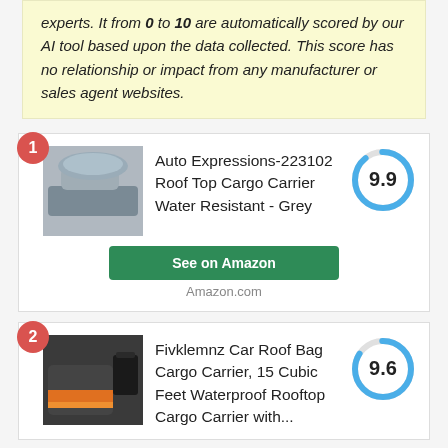experts. It from 0 to 10 are automatically scored by our AI tool based upon the data collected. This score has no relationship or impact from any manufacturer or sales agent websites.
[Figure (other): Product listing card 1: Auto Expressions-223102 Roof Top Cargo Carrier Water Resistant - Grey, score 9.9, with See on Amazon button]
[Figure (other): Product listing card 2: Fivklemnz Car Roof Bag Cargo Carrier, 15 Cubic Feet Waterproof Rooftop Cargo Carrier with..., score 9.6]